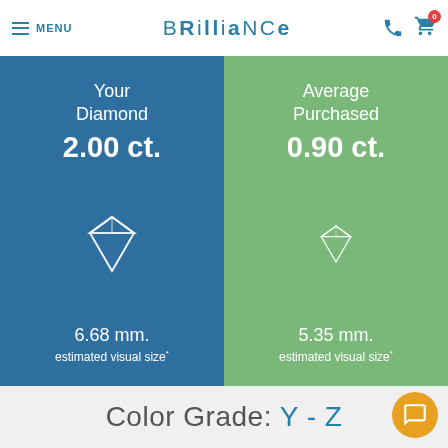MENU | BRILLIANCE
[Figure (infographic): Two-panel comparison: Left panel (blue) shows 'Your Diamond 2.00 ct.' with large diamond icon and '6.68 mm. estimated visual size'. Right panel (green) shows 'Average Purchased 0.90 ct.' with smaller diamond icon and '5.35 mm. estimated visual size'.]
Color Grade: Y - Z